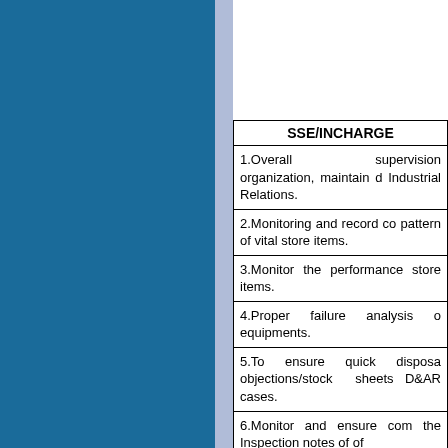| SSE/INCHARGE |
| --- |
| 1.Overall supervision organization, maintain d Industrial Relations. |
| 2.Monitoring and record co pattern of vital store items. |
| 3.Monitor the performance store items. |
| 4.Proper failure analysis o equipments. |
| 5.To ensure quick disposa objections/stock sheets D&AR cases. |
| 6.Monitor and ensure com the Inspection notes of of |
| 7.Periodical internal checks store Items, as per codal |
| 8.Ensure satisfactory ar works from the contrac his Jurisdiction. |
| 9.Keep the senior officer |